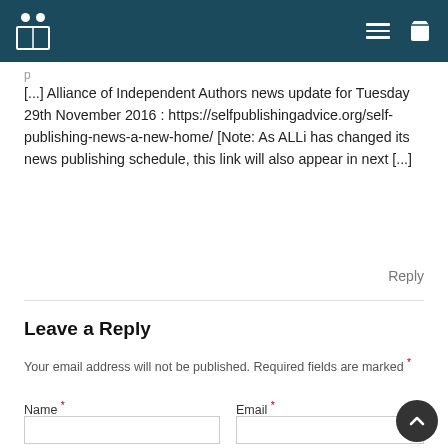Navigation bar with logo, menu, and cart icons
[...] Alliance of Independent Authors news update for Tuesday 29th November 2016 : https://selfpublishingadvice.org/self-publishing-news-a-new-home/ [Note: As ALLi has changed its news publishing schedule, this link will also appear in next [...]
Reply
Leave a Reply
Your email address will not be published. Required fields are marked *
Name *
Email *